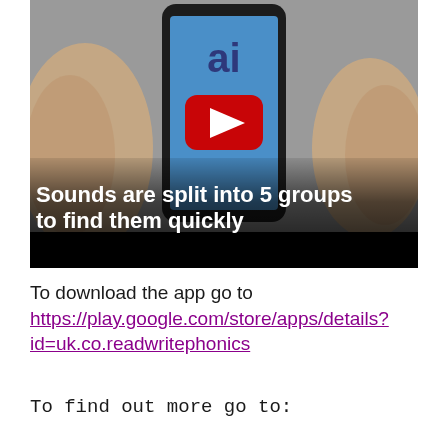[Figure (screenshot): YouTube video thumbnail showing a smartphone being held by two hands. The phone screen displays a YouTube play button (red rounded rectangle with white triangle). Text overlay reads: 'Sounds are split into 5 groups to find them quickly'. A black bar appears at the bottom of the thumbnail.]
To download the app go to https://play.google.com/store/apps/details?id=uk.co.readwritephonics
To find out more go to: